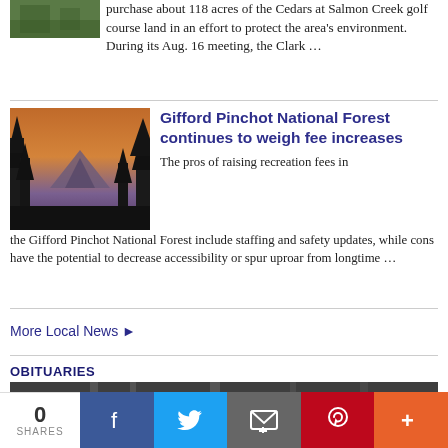[Figure (photo): Partial view of a nature/green landscape photo, cropped at top-left]
purchase about 118 acres of the Cedars at Salmon Creek golf course land in an effort to protect the area's environment. During its Aug. 16 meeting, the Clark …
[Figure (photo): Silhouette of pine trees against a sunset sky with a mountain in the background]
Gifford Pinchot National Forest continues to weigh fee increases
The pros of raising recreation fees in the Gifford Pinchot National Forest include staffing and safety updates, while cons have the potential to decrease accessibility or spur uproar from longtime …
More Local News ▶
OBITUARIES
[Figure (photo): Dark grayscale image, partial view of an interior with vertical lines/curtains]